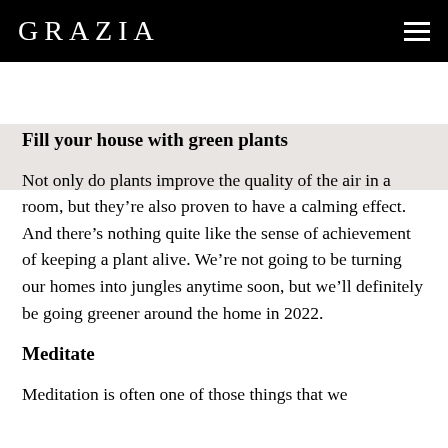GRAZIA
[Figure (photo): Partial image strip visible at the top of the article content area, light gray/beige background]
Fill your house with green plants
Not only do plants improve the quality of the air in a room, but they’re also proven to have a calming effect. And there’s nothing quite like the sense of achievement of keeping a plant alive. We’re not going to be turning our homes into jungles anytime soon, but we’ll definitely be going greener around the home in 2022.
Meditate
Meditation is often one of those things that we